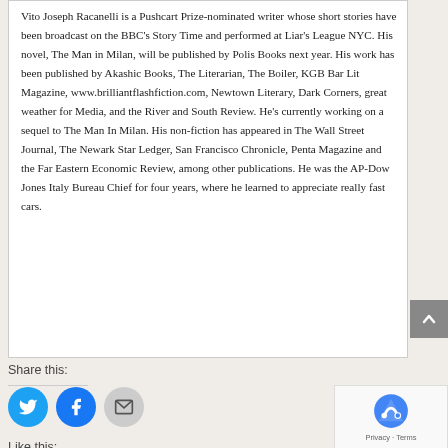Vito Joseph Racanelli is a Pushcart Prize-nominated writer whose short stories have been broadcast on the BBC's Story Time and performed at Liar's League NYC. His novel, The Man in Milan, will be published by Polis Books next year. His work has been published by Akashic Books, The Literarian, The Boiler, KGB Bar Lit Magazine, www.brilliantflashfiction.com, Newtown Literary, Dark Corners, great weather for Media, and the River and South Review. He's currently working on a sequel to The Man In Milan. His non-fiction has appeared in The Wall Street Journal, The Newark Star Ledger, San Francisco Chronicle, Penta Magazine and the Far Eastern Economic Review, among other publications. He was the AP-Dow Jones Italy Bureau Chief for four years, where he learned to appreciate really fast cars.
Share this:
[Figure (other): Social share buttons: Twitter (blue circle), Facebook (blue circle), Email (grey circle)]
Like this: